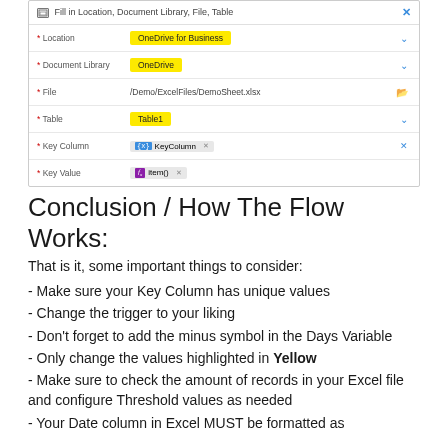[Figure (screenshot): A Power Automate dialog 'Fill in Location, Document Library, File, Table' with fields: Location (OneDrive for Business), Document Library (OneDrive), File (/Demo/ExcelFiles/DemoSheet.xlsx), Table (Table1), Key Column ({x} KeyColumn x), Key Value (fx item() x). Labels for Location, Document Library, File, Table are highlighted in yellow.]
Conclusion / How The Flow Works:
That is it, some important things to consider:
- Make sure your Key Column has unique values
- Change the trigger to your liking
- Don't forget to add the minus symbol in the Days Variable
- Only change the values highlighted in Yellow
- Make sure to check the amount of records in your Excel file and configure Threshold values as needed
- Your Date column in Excel MUST be formatted as